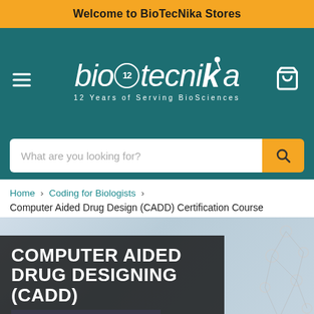Welcome to BioTecNika Stores
[Figure (logo): BioTecNika logo with '12 Years of Serving BioSciences' tagline on teal background, with hamburger menu and cart icon]
What are you looking for?
Home > Coding for Biologists > Computer Aided Drug Design (CADD) Certification Course
[Figure (illustration): Computer Aided Drug Designing (CADD) Certification Course promotional banner with dark overlay text on background showing a person at a computer and molecular network graphics]